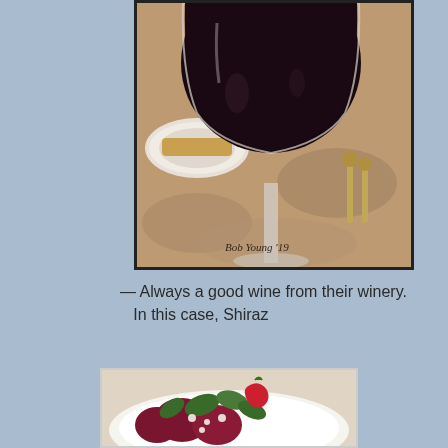[Figure (photo): Close-up photo of a large red wine glass filled with dark red wine (Shiraz), on a table with a decorative tablecloth. A plate and silverware are visible in the background. Photographer watermark 'Bob Young '19' visible at bottom left.]
— Always a good wine from their winery. In this case, Shiraz
[Figure (photo): Photo of a salad plate with strawberries, beets, greens, and crumbled white cheese on a white plate.]